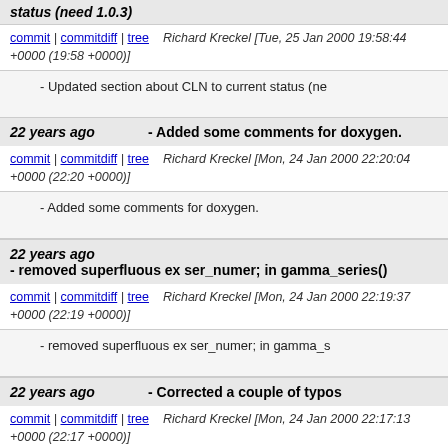status (need 1.0.3)
commit | commitdiff | tree   Richard Kreckel [Tue, 25 Jan 2000 19:58:44 +0000 (19:58 +0000)]
- Updated section about CLN to current status (ne
22 years ago   - Added some comments for doxygen.
commit | commitdiff | tree   Richard Kreckel [Mon, 24 Jan 2000 22:20:04 +0000 (22:20 +0000)]
- Added some comments for doxygen.
22 years ago   - removed superfluous ex ser_numer; in gamma_series()
commit | commitdiff | tree   Richard Kreckel [Mon, 24 Jan 2000 22:19:37 +0000 (22:19 +0000)]
- removed superfluous ex ser_numer; in gamma_s
22 years ago   - Corrected a couple of typos
commit | commitdiff | tree   Richard Kreckel [Mon, 24 Jan 2000 22:17:13 +0000 (22:17 +0000)]
- Corrected a couple of typos